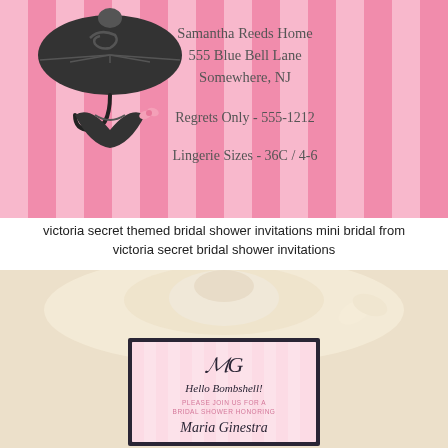[Figure (illustration): Victoria Secret themed bridal shower invitation with pink stripes, black umbrella and lingerie illustration on the left, and text on the right: Samantha Reeds Home, 555 Blue Bell Lane, Somewhere, NJ, Regrets Only - 555-1212, Lingerie Sizes - 36C / 4-6]
victoria secret themed bridal shower invitations mini bridal from victoria secret bridal shower invitations
[Figure (photo): Photo of a bridal shower invitation card with pink stripes framed in dark border, featuring script monogram MG, text Hello Bombshell!, Please join us for a Bridal Shower Honoring Maria Ginestra, placed on fabric/lace background]